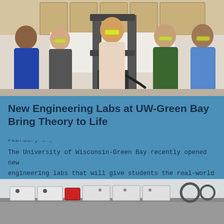[Figure (photo): Five people (students and faculty) standing in an engineering lab with equipment including what appears to be a materials testing machine. Some are wearing yellow safety glasses.]
New Engineering Labs at UW-Green Bay Bring Theory to Life
February 24, 2020
The University of Wisconsin-Green Bay recently opened new engineering labs that will give students the real-world skills they need for the workforce. The project is part of a greater...
Read More ›
[Figure (photo): Engineering lab equipment on a workbench, including electronic testing instruments and cables.]